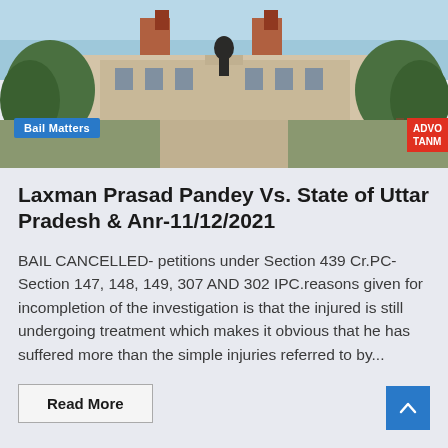[Figure (photo): Photograph of a court building exterior with trees, a statue, and a 'Bail Matters' badge overlay in blue, and a red 'ADVO TANM' badge on the right side.]
Laxman Prasad Pandey Vs. State of Uttar Pradesh & Anr-11/12/2021
BAIL CANCELLED- petitions under Section 439 Cr.PC- Section 147, 148, 149, 307 AND 302 IPC.reasons given for incompletion of the investigation is that the injured is still undergoing treatment which makes it obvious that he has suffered more than the simple injuries referred to by...
Read More